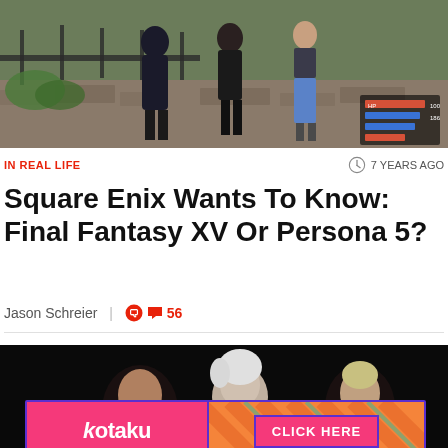[Figure (screenshot): Screenshot from Final Fantasy XV showing characters standing in a cobblestone outdoor area with game HUD visible in bottom right]
IN REAL LIFE
7 YEARS AGO
Square Enix Wants To Know: Final Fantasy XV Or Persona 5?
Jason Schreier  |  56
[Figure (screenshot): Final Fantasy XV promotional art showing main characters Noctis and companions against a dark background]
[Figure (other): Kotaku advertisement banner with pink and orange background showing Kotaku logo on left and CLICK HERE button on right]